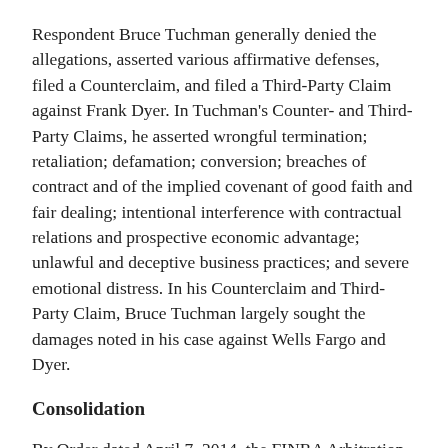Respondent Bruce Tuchman generally denied the allegations, asserted various affirmative defenses, filed a Counterclaim, and filed a Third-Party Claim against Frank Dyer. In Tuchman's Counter- and Third-Party Claims, he asserted wrongful termination; retaliation; defamation; conversion; breaches of contract and of the implied covenant of good faith and fair dealing; intentional interference with contractual relations and prospective economic advantage; unlawful and deceptive business practices; and severe emotional distress. In his Counterclaim and Third-Party Claim, Bruce Tuchman largely sought the damages noted in his case against Wells Fargo and Dyer.
Consolidation
By Order dated April 7, 2014, the FINRA Arbitration